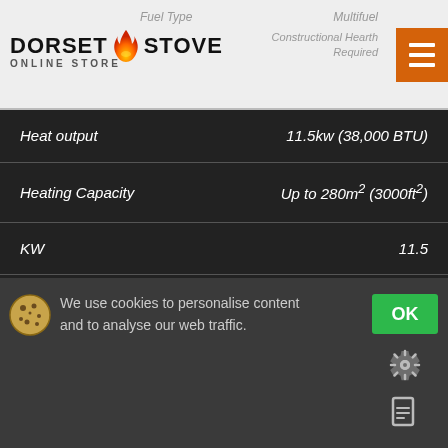[Figure (logo): Dorset Stove Online Store logo with flame icon]
Fuel Type | Multifuel | Constructional Hearth Required
| Specification | Value |
| --- | --- |
| Heat output | 11.5kw (38,000 BTU) |
| Heating Capacity | Up to 280m² (3000ft²) |
| KW | 11.5 |
| Log length | 483 |
| Rooms Heated | Up to 15 |
| Smoke exempt | Yes |
We use cookies to personalise content and to analyse our web traffic.